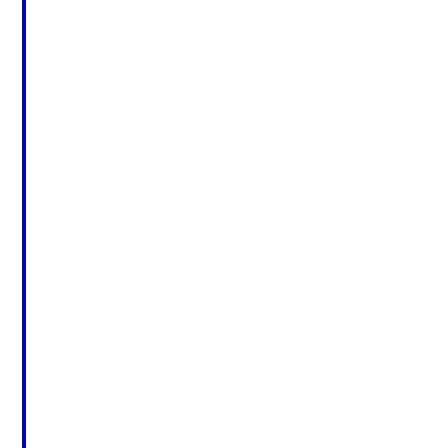Setting up a domain name server involves connecting it to a regis... company will help you to set this up, or you can do it yourself if you want to do it yourself, make sure that you purchase a tutorial process step-by-step. There are plenty of tutorials available online name running in no time at all.
If you find yourself at a dead end, you can look into domain name... There are numerous companies out there that offer name servers you decide to spend money for a name server of your own. Many that work great, and some of them provide free name servers as w...
Before you purchase a domain name server, though, it's importan...